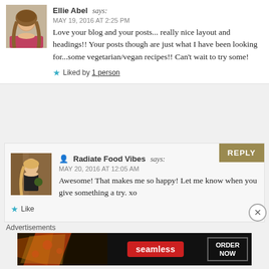[Figure (photo): Avatar photo of Ellie Abel, a young woman with long blonde hair]
Ellie Abel says: MAY 19, 2016 AT 2:25 PM
Love your blog and your posts... really nice layout and headings!! Your posts though are just what I have been looking for...some vegetarian/vegan recipes!! Can't wait to try some!
Liked by 1 person
[Figure (photo): Avatar photo of Radiate Food Vibes, a woman in a black top outdoors]
Radiate Food Vibes says: MAY 20, 2016 AT 12:05 AM
Awesome! That makes me so happy! Let me know when you give something a try. xo
Like
Advertisements
[Figure (screenshot): Seamless food ordering advertisement banner with pizza image, Seamless logo, and ORDER NOW button]